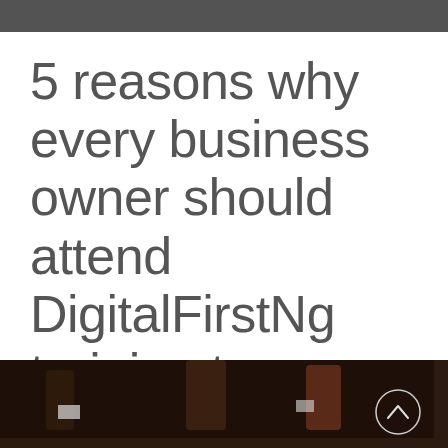[Figure (photo): Partial dark image visible at the very top of the page]
5 reasons why every business owner should attend DigitalFirstNg training to grow your business
[Figure (photo): Dark photo at the bottom showing people, with a circular scroll-up button in the bottom right corner]